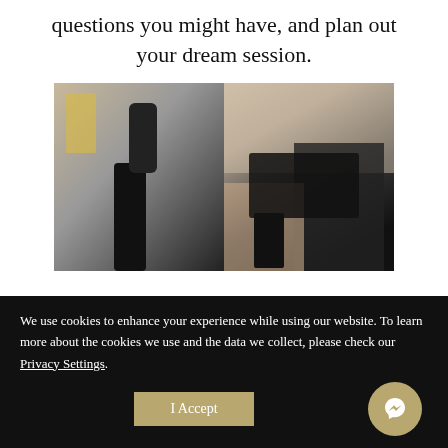questions you might have, and plan out your dream session.
[Figure (photo): Two-panel photo showing a person in black lingerie and stockings]
We use cookies to enhance your experience while using our website. To learn more about the cookies we use and the data we collect, please check our Privacy Settings.
I Accept